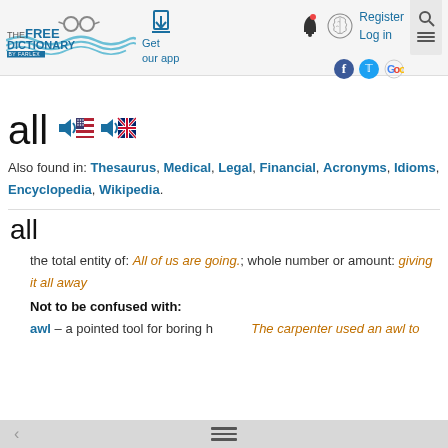The Free Dictionary — Get our app — Register Log in
all
Also found in: Thesaurus, Medical, Legal, Financial, Acronyms, Idioms, Encyclopedia, Wikipedia.
all
the total entity of: All of us are going.; whole number or amount: giving it all away
Not to be confused with:
awl – a pointed tool for boring holes The carpenter used an awl to